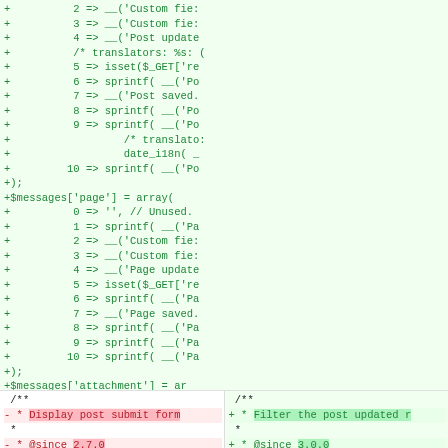[Figure (screenshot): Code diff view showing added lines (green) with PHP array entries for post and page messages, and a bottom section showing a side-by-side diff with removed lines (red) for 'Display post submit form' @since 2.7.0 and added lines (green) for 'Filter the post updated r' @since 3.0.0]